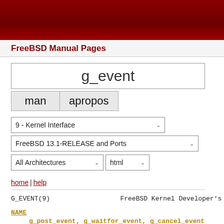FreeBSD Manual Pages
g_event
man  apropos
9 - Kernel Interface
FreeBSD 13.1-RELEASE and Ports
All Architectures  html
home | help
G_EVENT(9)                  FreeBSD Kernel Developer's
NAME
g_post_event, g_waitfor_event, g_cancel_event